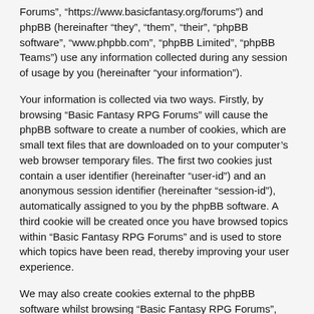Forums", “https://www.basicfantasy.org/forums”) and phpBB (hereinafter “they”, “them”, “their”, “phpBB software”, “www.phpbb.com”, “phpBB Limited”, “phpBB Teams”) use any information collected during any session of usage by you (hereinafter “your information”).
Your information is collected via two ways. Firstly, by browsing “Basic Fantasy RPG Forums” will cause the phpBB software to create a number of cookies, which are small text files that are downloaded on to your computer’s web browser temporary files. The first two cookies just contain a user identifier (hereinafter “user-id”) and an anonymous session identifier (hereinafter “session-id”), automatically assigned to you by the phpBB software. A third cookie will be created once you have browsed topics within “Basic Fantasy RPG Forums” and is used to store which topics have been read, thereby improving your user experience.
We may also create cookies external to the phpBB software whilst browsing “Basic Fantasy RPG Forums”, though these are outside the scope of this document which is intended to only cover the pages created by the phpBB software. The second way in which we collect your information is by what you submit to us. This can be, and is not limited to: posting as an anonymous user (hereinafter “anonymous posts”), registering on “Basic Fantasy RPG Forums” (hereinafter “your account”) and posts submitted by you after registration and whilst logged in (hereinafter “your posts”).